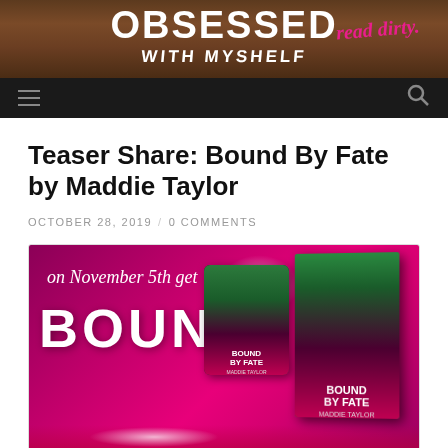[Figure (screenshot): Website header banner for 'Obsessed With My Shelf' book blog with tagline 'read dirty' on dark wood background, with navigation bar below containing hamburger menu and search icon]
Teaser Share: Bound By Fate by Maddie Taylor
OCTOBER 28, 2019 / 0 COMMENTS
[Figure (photo): Promotional banner for 'Bound By Fate' by Maddie Taylor showing text 'on November 5th get BOUND' on a pink/magenta gradient background with sparkles and book cover images (tablet and print versions)]